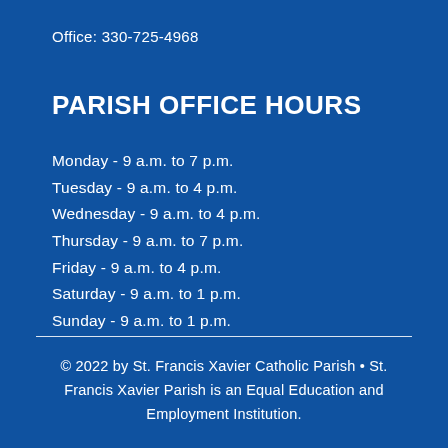Office: 330-725-4968
PARISH OFFICE HOURS
Monday - 9 a.m. to 7 p.m.
Tuesday - 9 a.m. to 4 p.m.
Wednesday - 9 a.m. to 4 p.m.
Thursday - 9 a.m. to 7 p.m.
Friday - 9 a.m. to 4 p.m.
Saturday - 9 a.m. to 1 p.m.
Sunday - 9 a.m. to 1 p.m.
© 2022 by St. Francis Xavier Catholic Parish • St. Francis Xavier Parish is an Equal Education and Employment Institution.